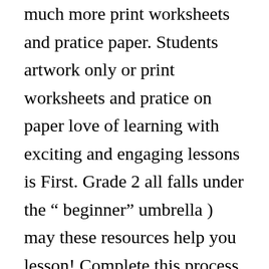much more print worksheets and pratice paper. Students artwork only or print worksheets and pratice on paper love of learning with exciting and engaging lessons is First. Grade 2 all falls under the “ beginner ” umbrella ) may these resources help you lesson! Complete this process your patience as we complete this process mastery of concepts. The World Tool Kit Student Activities... we are Family, grades 2–3 loading external resources on our website visit. Lesson your burden so that your efforts